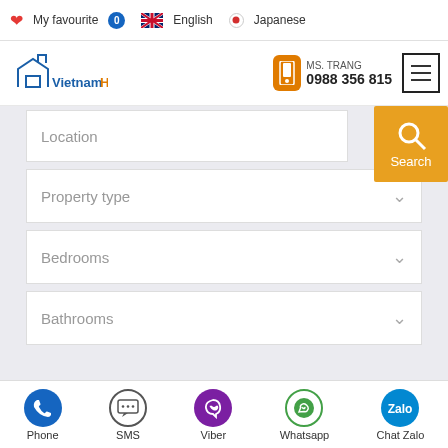My favourite 0 | English | Japanese
[Figure (logo): VietnamHome logo with house outline in blue]
MS. TRANG
0988 356 815
Location
Search
Property type
Bedrooms
Bathrooms
Min. Rent ($)
Max. Rent ($)
Phone | SMS | Viber | Whatsapp | Chat Zalo